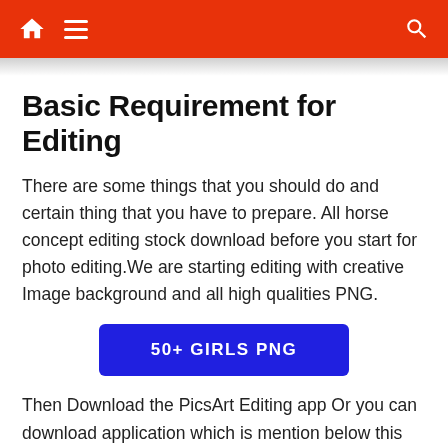Navigation bar with home, menu, and search icons
Basic Requirement for Editing
There are some things that you should do and certain thing that you have to prepare. All horse concept editing stock download before you start for photo editing.We are starting editing with creative Image background and all high qualities PNG.
[Figure (other): Blue button labeled '50+ GIRLS PNG']
Then Download the PicsArt Editing app Or you can download application which is mention below this post. That's it done for it and You are ready to go for the awesome photo editing.
How To Edit your photo on